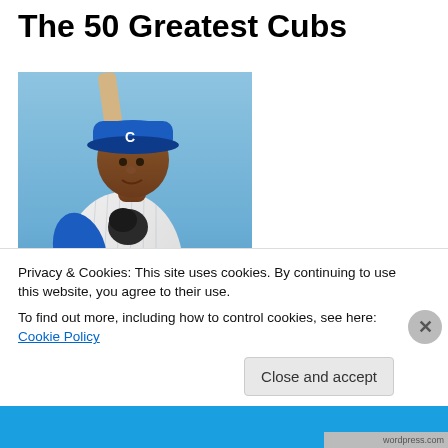The 50 Greatest Cubs
[Figure (photo): A Chicago Cubs baseball player in white pinstripe uniform with number on jersey and blue Cubs cap, holding a baseball bat over his shoulder, posed in a batting stance, photographed outdoors with a blue sky background.]
Privacy & Cookies: This site uses cookies. By continuing to use this website, you agree to their use.
To find out more, including how to control cookies, see here: Cookie Policy
Close and accept